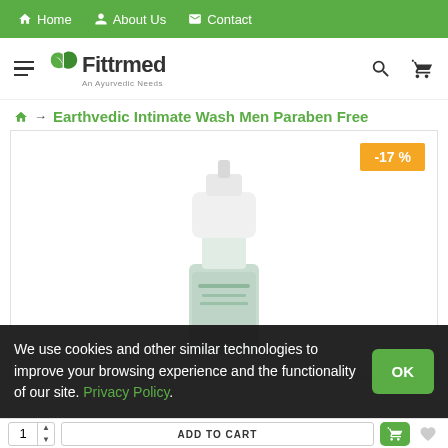Home | About Us | Contact
[Figure (logo): Fittrmed logo with green leaf and tagline 'An Ayurvedic Needs']
Earthvedic Intimate Wash Men Paraben Free
[Figure (photo): White pump bottle product image of Earthvedic Intimate Wash Men Paraben Free with -17% discount badge]
We use cookies and other similar technologies to improve your browsing experience and the functionality of our site. Privacy Policy.